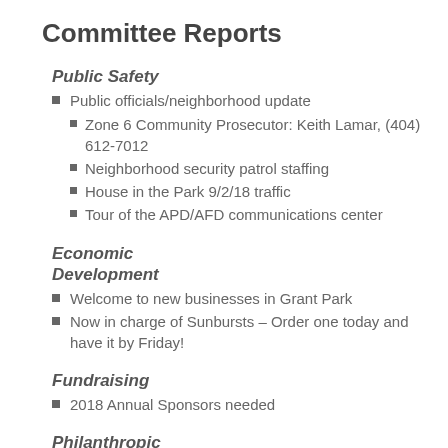Committee Reports
Public Safety
Public officials/neighborhood update
Zone 6 Community Prosecutor: Keith Lamar, (404) 612-7012
Neighborhood security patrol staffing
House in the Park 9/2/18 traffic
Tour of the APD/AFD communications center
Economic Development
Welcome to new businesses in Grant Park
Now in charge of Sunbursts – Order one today and have it by Friday!
Fundraising
2018 Annual Sponsors needed
Philanthropic